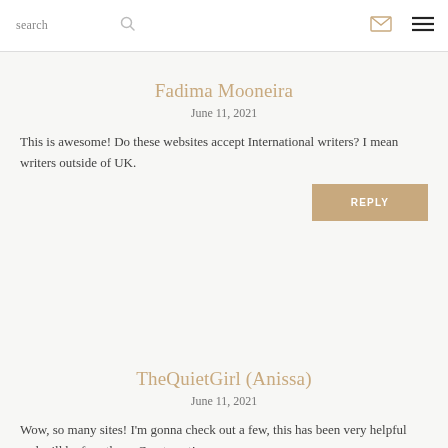search [search icon] [mail icon] [menu icon]
Fadima Mooneira
June 11, 2021
This is awesome! Do these websites accept International writers? I mean writers outside of UK.
REPLY
TheQuietGirl (Anissa)
June 11, 2021
Wow, so many sites! I'm gonna check out a few, this has been very helpful and will be for others. Great post!